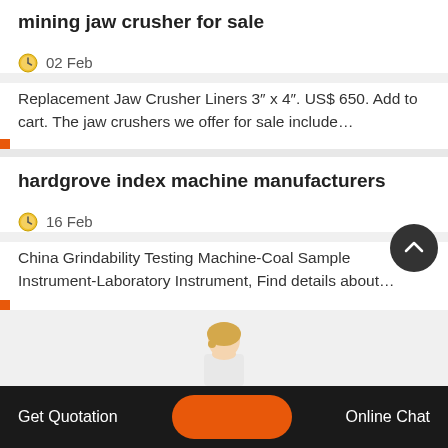mining jaw crusher for sale
02 Feb
Replacement Jaw Crusher Liners 3″ x 4″. US$ 650. Add to cart. The jaw crushers we offer for sale include…
hardgrove index machine manufacturers
16 Feb
China Grindability Testing Machine-Coal Sample Instrument-Laboratory Instrument, Find details about…
Get Quotation   Online Chat